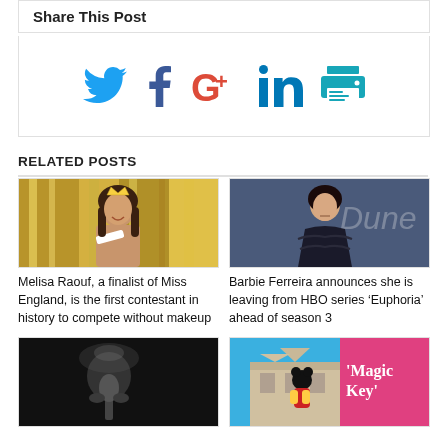Share This Post
[Figure (infographic): Social media sharing icons: Twitter (blue bird), Facebook (blue f), Google+ (red G+), LinkedIn (blue in), Print (teal printer icon)]
RELATED POSTS
[Figure (photo): Melisa Raouf, young woman with long brown hair wearing a sash, posing in front of a golden sequined background]
[Figure (photo): Barbie Ferreira in a dark ruffled off-shoulder dress at what appears to be a Dune premiere event]
Melisa Raouf, a finalist of Miss England, is the first contestant in history to compete without makeup
Barbie Ferreira announces she is leaving from HBO series ‘Euphoria’ ahead of season 3
[Figure (photo): Black and white photo of a person at a microphone, dramatic lighting]
[Figure (photo): Disneyland scene with Mickey Mouse character and a colorful Magic Key promotional banner]